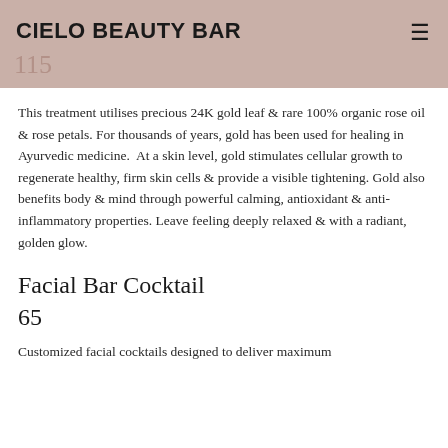CIELO BEAUTY BAR
115
This treatment utilises precious 24K gold leaf & rare 100% organic rose oil & rose petals. For thousands of years, gold has been used for healing in Ayurvedic medicine. At a skin level, gold stimulates cellular growth to regenerate healthy, firm skin cells & provide a visible tightening. Gold also benefits body & mind through powerful calming, antioxidant & anti-inflammatory properties. Leave feeling deeply relaxed & with a radiant, golden glow.
Facial Bar Cocktail
65
Customized facial cocktails designed to deliver maximum